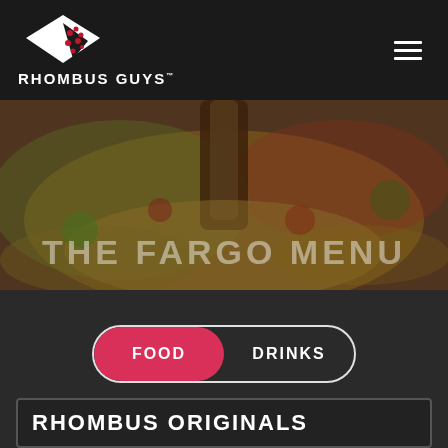[Figure (logo): Rhombus Guys pizza logo — white diamond/rhombus shape with red pepperoni dots on a black background, with brand name 'RHOMBUS GUYS' in white uppercase letters below]
[Figure (photo): Close-up photo of pizza slices being pulled apart with cheese stretching, food photography with warm amber tones]
THE FARGO MENU
FOOD   DRINKS
RHOMBUS ORIGINALS